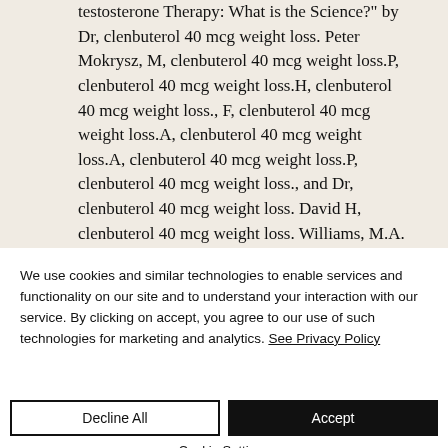Testosterone Therapy: What is the Science?" by Dr, clenbuterol 40 mcg weight loss. Peter Mokrysz, M, clenbuterol 40 mcg weight loss.P, clenbuterol 40 mcg weight loss.H, clenbuterol 40 mcg weight loss., F, clenbuterol 40 mcg weight loss.A, clenbuterol 40 mcg weight loss.A, clenbuterol 40 mcg weight loss.P, clenbuterol 40 mcg weight loss., and Dr, clenbuterol 40 mcg weight loss. David H, clenbuterol 40 mcg weight loss. Williams, M.A. (1997)
We use cookies and similar technologies to enable services and functionality on our site and to understand your interaction with our service. By clicking on accept, you agree to our use of such technologies for marketing and analytics. See Privacy Policy
Decline All
Accept
Cookie Settings